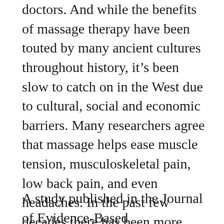doctors. And while the benefits of massage therapy have been touted by many ancient cultures throughout history, it's been slow to catch on in the West due to cultural, social and economic barriers. Many researchers agree that massage helps ease muscle tension, musculoskeletal pain, low back pain, and even headaches. In the past few decades there has been more evidence that has shown that the benefits of massage therapy are even greater than previously thought. This has added a deeper layer of understanding to the plethora of benefits massage has on the body and the mind.
A study published in the Journal of Evidence-Based Complementary and Alternative Medicine 2007 by...